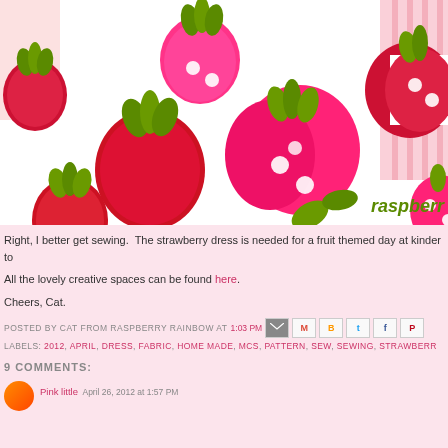[Figure (photo): Close-up photo of strawberry-patterned fabric with red and pink strawberries on white background, with partial 'raspberry' text watermark in green bottom right]
Right, I better get sewing.  The strawberry dress is needed for a fruit themed day at kinder to
All the lovely creative spaces can be found here.
Cheers, Cat.
POSTED BY CAT FROM RASPBERRY RAINBOW AT 1:03 PM  [share icons]  LABELS: 2012, APRIL, DRESS, FABRIC, HOME MADE, MCS, PATTERN, SEW, SEWING, STRAWBERR
9 COMMENTS:
Pink little  April 26, 2012 at 1:57 PM